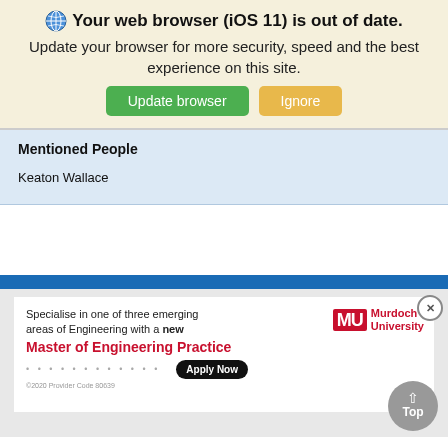Your web browser (iOS 11) is out of date.
Update your browser for more security, speed and the best experience on this site.
Update browser  Ignore
Mentioned People
Keaton Wallace
[Figure (screenshot): Browser advertisement banner for Murdoch University Master of Engineering Practice with Apply Now button and Top scroll button]